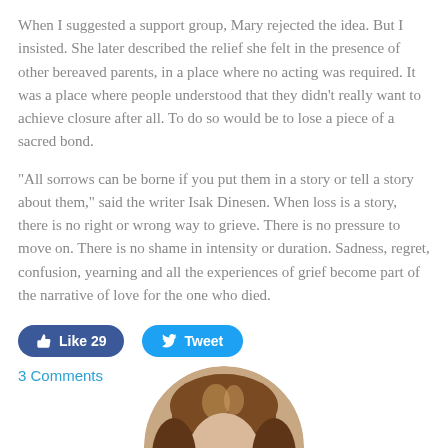When I suggested a support group, Mary rejected the idea. But I insisted. She later described the relief she felt in the presence of other bereaved parents, in a place where no acting was required. It was a place where people understood that they didn't really want to achieve closure after all. To do so would be to lose a piece of a sacred bond.
“All sorrows can be borne if you put them in a story or tell a story about them,” said the writer Isak Dinesen. When loss is a story, there is no right or wrong way to grieve. There is no pressure to move on. There is no shame in intensity or duration. Sadness, regret, confusion, yearning and all the experiences of grief become part of the narrative of love for the one who died.
Like 29   Tweet
3 Comments
[Figure (photo): Circular portrait photo of a person, cropped at bottom of page, showing top of head with brown hair]